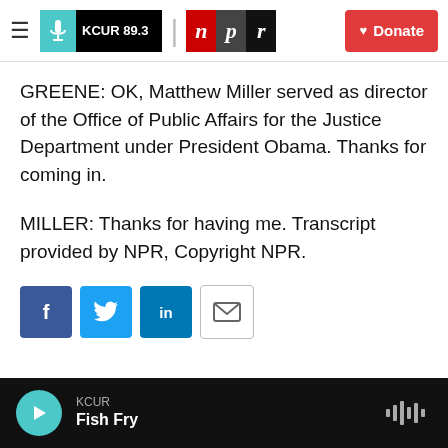KCUR 89.3 | npr | Donate
GREENE: OK, Matthew Miller served as director of the Office of Public Affairs for the Justice Department under President Obama. Thanks for coming in.
MILLER: Thanks for having me. Transcript provided by NPR, Copyright NPR.
[Figure (other): Social sharing buttons: Facebook, Twitter, LinkedIn, Email]
KCUR Fish Fry — audio player bar